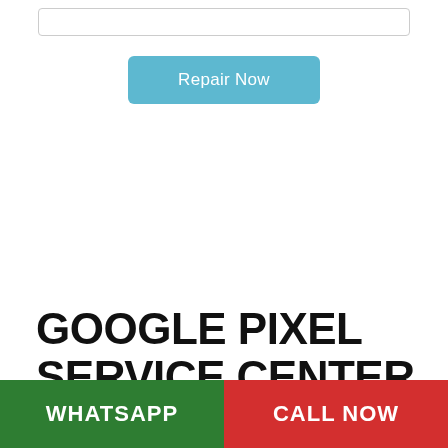[Figure (screenshot): UI card section with an input bar and a 'Repair Now' button in teal/blue color]
GOOGLE PIXEL SERVICE CENTER
Home o Google pixel mobile Repair
WHATSAPP
CALL NOW